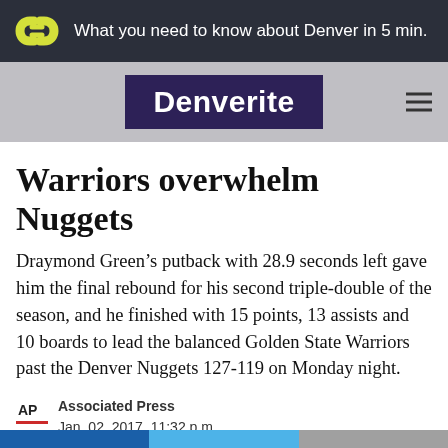What you need to know about Denver in 5 min.
[Figure (logo): Denverite logo with chain-link icon and nav bar]
Warriors overwhelm Nuggets
Draymond Green’s putback with 28.9 seconds left gave him the final rebound for his second triple-double of the season, and he finished with 15 points, 13 assists and 10 boards to lead the balanced Golden State Warriors past the Denver Nuggets 127-119 on Monday night.
Associated Press
Jan. 02, 2017, 11:32 p.m.